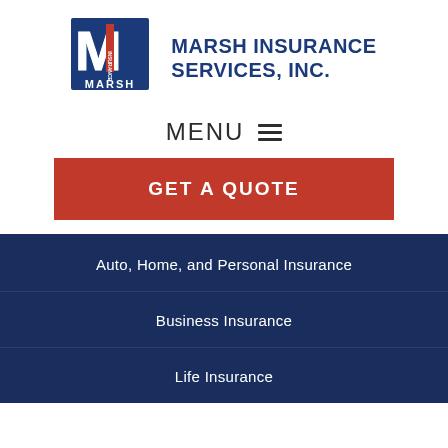[Figure (logo): Marsh Insurance Services, Inc. logo with blue M emblem and company name]
MENU ☰
GET A QUOTE
Auto, Home, and Personal Insurance
Business Insurance
Life Insurance